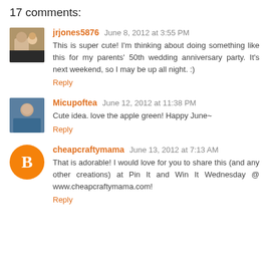17 comments:
jrjones5876  June 8, 2012 at 3:55 PM
This is super cute! I'm thinking about doing something like this for my parents' 50th wedding anniversary party. It's next weekend, so I may be up all night. :)
Reply
Micupoftea  June 12, 2012 at 11:38 PM
Cute idea. love the apple green! Happy June~
Reply
cheapcraftymama  June 13, 2012 at 7:13 AM
That is adorable! I would love for you to share this (and any other creations) at Pin It and Win It Wednesday @ www.cheapcraftymama.com!
Reply